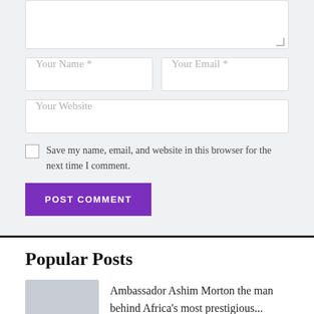[Figure (screenshot): Comment form with textarea (partially visible at top), Name and Email input fields, Website input field, checkbox with label 'Save my name, email, and website in this browser for the next time I comment.', and a purple POST COMMENT button]
Popular Posts
Ambassador Ashim Morton the man behind Africa's most prestigious...